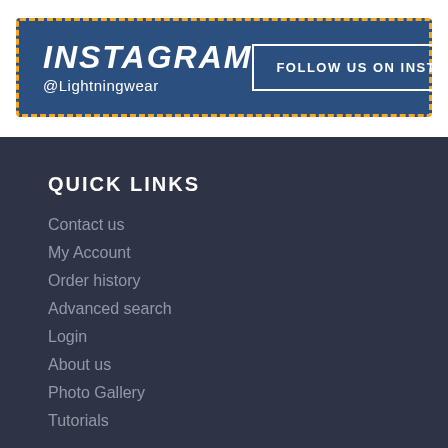INSTAGRAM
@Lightningwear
FOLLOW US ON INSTAGRAM
QUICK LINKS
Contact us
My Account
Order history
Advanced search
Login
About us
Photo Gallery
Tutorials